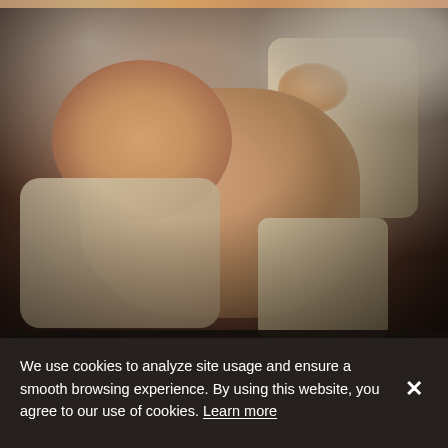[Figure (photo): A sleeping newborn baby wrapped in a knit cream/beige blanket, lying on a fluffy fur-like surface. The baby's face is visible on the left side, with hands tucked under the cheek. The image has warm, dark, earthy tones.]
We use cookies to analyze site usage and ensure a smooth browsing experience. By using this website, you agree to our use of cookies. Learn more